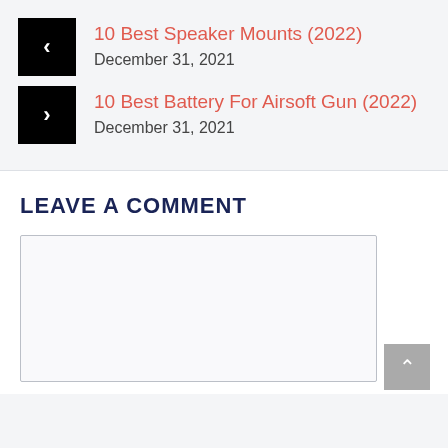10 Best Speaker Mounts (2022) — December 31, 2021
10 Best Battery For Airsoft Gun (2022) — December 31, 2021
LEAVE A COMMENT